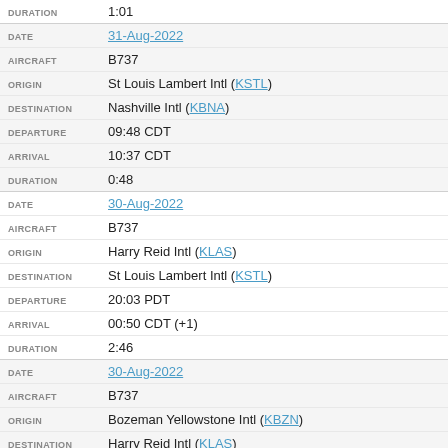| Field | Value |
| --- | --- |
| DURATION | 1:01 |
| DATE | 31-Aug-2022 |
| AIRCRAFT | B737 |
| ORIGIN | St Louis Lambert Intl (KSTL) |
| DESTINATION | Nashville Intl (KBNA) |
| DEPARTURE | 09:48 CDT |
| ARRIVAL | 10:37 CDT |
| DURATION | 0:48 |
| DATE | 30-Aug-2022 |
| AIRCRAFT | B737 |
| ORIGIN | Harry Reid Intl (KLAS) |
| DESTINATION | St Louis Lambert Intl (KSTL) |
| DEPARTURE | 20:03 PDT |
| ARRIVAL | 00:50 CDT (+1) |
| DURATION | 2:46 |
| DATE | 30-Aug-2022 |
| AIRCRAFT | B737 |
| ORIGIN | Bozeman Yellowstone Intl (KBZN) |
| DESTINATION | Harry Reid Intl (KLAS) |
| DEPARTURE | 18:21 MDT |